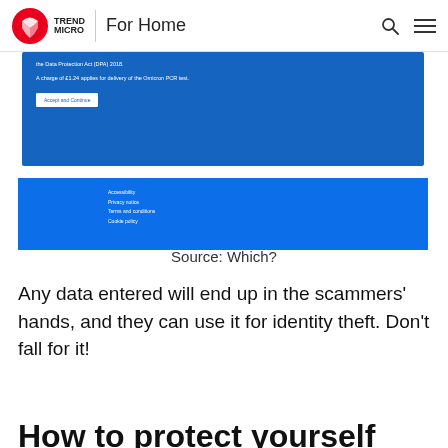TREND MICRO | For Home
[Figure (screenshot): Screenshot of a phishing website mimicking a UK NHS/government page. Shows a dark blue panel with text mentioning the Data Protection Act (DPA) 2018 and 'A charge of £1.24 applies for delivery of the Omicron PCR test.' with an 'Accept and Continue' button. Below is a blue footer with links: Accessibility, Privacy notice, Terms and conditions, Cookie policy.]
Source: Which?
Any data entered will end up in the scammers' hands, and they can use it for identity theft. Don't fall for it!
How to protect yourself